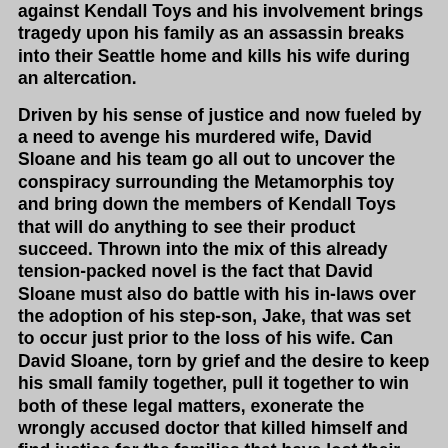against Kendall Toys and his involvement brings tragedy upon his family as an assassin breaks into their Seattle home and kills his wife during an altercation.
Driven by his sense of justice and now fueled by a need to avenge his murdered wife, David Sloane and his team go all out to uncover the conspiracy surrounding the Metamorphis toy and bring down the members of Kendall Toys that will do anything to see their product succeed. Thrown into the mix of this already tension-packed novel is the fact that David Sloane must also do battle with his in-laws over the adoption of his step-son, Jake, that was set to occur just prior to the loss of his wife. Can David Sloane, torn by grief and the desire to keep his small family together, pull it together to win both of these legal matters, exonerate the wrongly accused doctor that killed himself and find justice for the families that have lost their children due to a malfunctioning toy? The pages will burn as this novel never lets up for a single moment and will keep the reader going long into the night to finish this exhilarating story!
Robert Dugoni has received blurbs comparing this novel to the work of John Grisham. I find this an unfair comparison. John Grisham's last good novel was way in the past. Dugoni's superior novel, BODILY HARM, is the present leader in legal thriller fiction... and I cannot wait for the future efforts in the